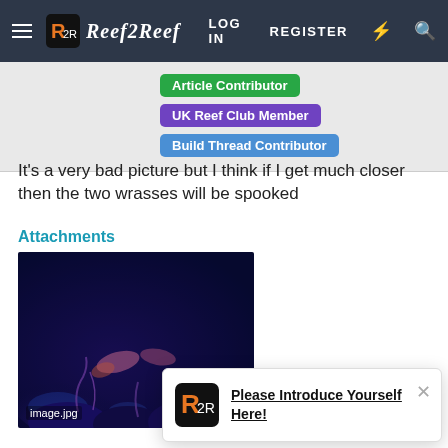Reef2Reef | LOG IN | REGISTER
Article Contributor   UK Reef Club Member   Build Thread Contributor
It's a very bad picture but I think if I get much closer then the two wrasses will be spooked
Attachments
[Figure (photo): Dark blue aquarium photo showing wrasse fish with purple/pink coral, labeled image.jpg]
Please Introduce Yourself Here!